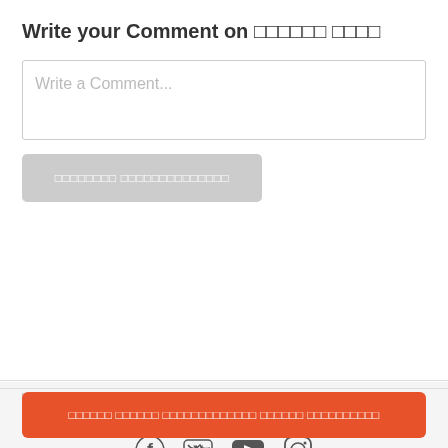Write your Comment on ꯃꯔꯨꯑꯣꯡꯒꯤ ꯀꯔꯥ
[Figure (screenshot): Comment input text box with placeholder text 'Write a Comment...']
[Figure (screenshot): Gray submit button with Manipuri text]
ꯁꯦꯝꯕꯤ > ꯃꯔꯨꯑꯣꯡꯒꯤ ꯀꯔꯥ ꯑꯃꯩꯇꯥꯕꯒꯤ > Perfect Car.
*ex-showroom ꯑꯣꯏꯕꯒꯤ ꯑꯃꯩꯇꯥꯕꯒꯤ ꯑꯃ꯭
[Figure (screenshot): Social media icons row: Facebook, Twitter, YouTube, Instagram]
© 2022 Girnar Software Pvt. Ltd.
privacy policy • T & C
[Figure (screenshot): Orange button at bottom with Manipuri script text]